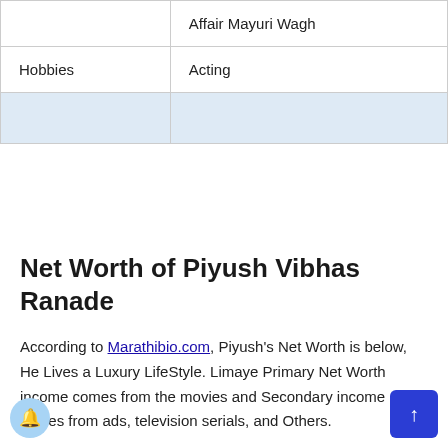| Affair | Mayuri Wagh |
| Hobbies | Acting |
|  |  |
Net Worth of Piyush Vibhas Ranade
According to Marathibio.com, Piyush's Net Worth is below, He Lives a Luxury LifeStyle. Limaye Primary Net Worth income comes from the movies and Secondary income comes from ads, television serials, and Others.
Piyush Vibhas Ranade Net Worth is $ 05 – 10 Million.